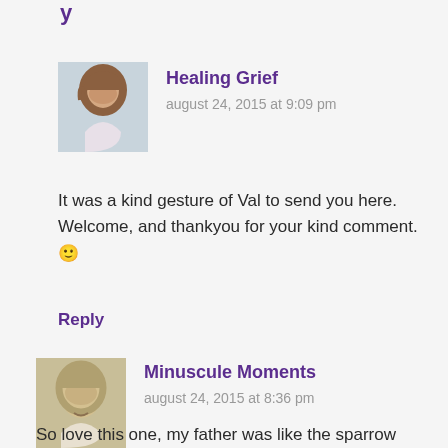y
[Figure (photo): Avatar photo of Healing Grief commenter - woman with brown hair]
Healing Grief
august 24, 2015 at 9:09 pm
It was a kind gesture of Val to send you here. Welcome, and thankyou for your kind comment. 🙂
Reply
[Figure (photo): Avatar photo of Minuscule Moments commenter - smiling woman with light hair]
Minuscule Moments
august 24, 2015 at 8:36 pm
So love this one, my father was like the sparrow